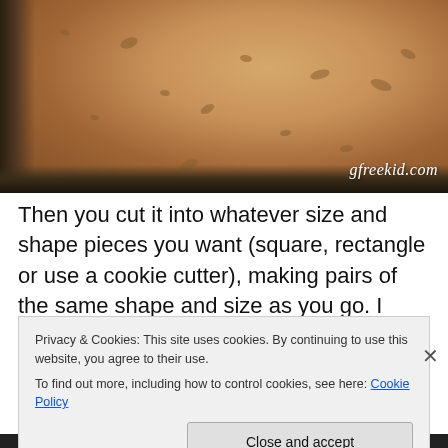[Figure (photo): Photo of a baked gluten-free cookie bar in a dark rectangular baking pan, showing a golden-brown surface with chocolate chip spots. Watermark 'gfreekid.com' in lower right corner.]
Then you cut it into whatever size and shape pieces you want (square, rectangle or use a cookie cutter), making pairs of the same shape and size as you go. I went with a
Privacy & Cookies: This site uses cookies. By continuing to use this website, you agree to their use.
To find out more, including how to control cookies, see here: Cookie Policy